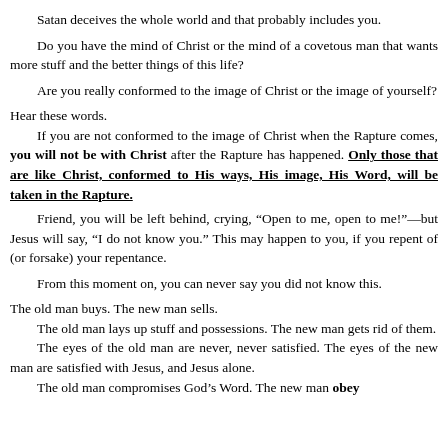Satan deceives the whole world and that probably includes you.
Do you have the mind of Christ or the mind of a covetous man that wants more stuff and the better things of this life?
Are you really conformed to the image of Christ or the image of yourself?
Hear these words.
	If you are not conformed to the image of Christ when the Rapture comes, you will not be with Christ after the Rapture has happened. Only those that are like Christ, conformed to His ways, His image, His Word, will be taken in the Rapture.
Friend, you will be left behind, crying, “Open to me, open to me!”—but Jesus will say, “I do not know you.” This may happen to you, if you repent of (or forsake) your repentance.
From this moment on, you can never say you did not know this.
The old man buys. The new man sells.
	The old man lays up stuff and possessions. The new man gets rid of them.
	The eyes of the old man are never, never satisfied. The eyes of the new man are satisfied with Jesus, and Jesus alone.
	The old man compromises God’s Word. The new man obeys